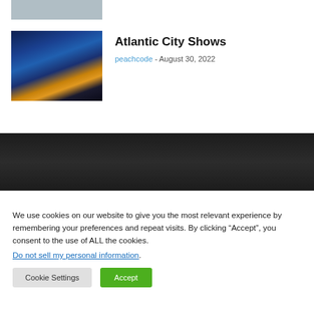[Figure (photo): Partial top image stub — cropped image of a city/building scene]
[Figure (photo): Thumbnail photo of Atlantic City at night — illuminated boardwalk and buildings with blue evening sky]
Atlantic City Shows
peachcode - August 30, 2022
[Figure (other): Dark banner/background section]
We use cookies on our website to give you the most relevant experience by remembering your preferences and repeat visits. By clicking “Accept”, you consent to the use of ALL the cookies.
Do not sell my personal information.